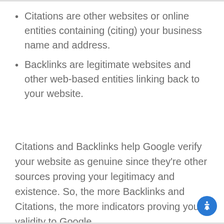Citations are other websites or online entities containing (citing) your business name and address.
Backlinks are legitimate websites and other web-based entities linking back to your website.
Citations and Backlinks help Google verify your website as genuine since they're other sources proving your legitimacy and existence. So, the more Backlinks and Citations, the more indicators proving your validity to Google.